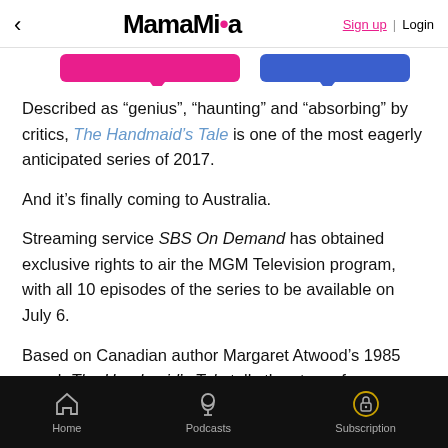< MamaMia  Sign up | Login
[Figure (other): Partial banner/tab UI strip showing pink and blue speech bubble tabs]
Described as “genius”, “haunting” and “absorbing” by critics, The Handmaid’s Tale is one of the most eagerly anticipated series of 2017.
And it’s finally coming to Australia.
Streaming service SBS On Demand has obtained exclusive rights to air the MGM Television program, with all 10 episodes of the series to be available on July 6.
Based on Canadian author Margaret Atwood’s 1985 novel, The Handmaid’s Tale tells the story of a dystopian society set in what was formerly part of the United States of America.
Home  Podcasts  Subscription